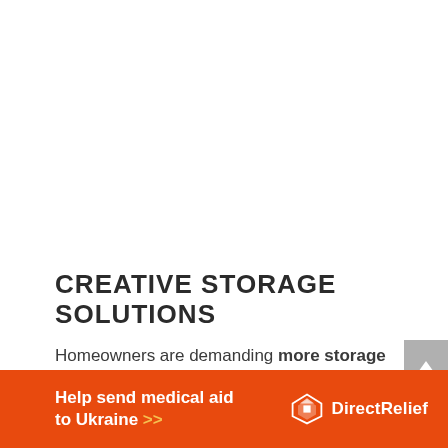CREATIVE STORAGE SOLUTIONS
Homeowners are demanding more storage with increased functionality. The roles for walk-in-closets and kitchen pantries are expanding, as homeowners are receptive to
[Figure (infographic): Orange Direct Relief advertisement banner reading 'Help send medical aid to Ukraine >>' with Direct Relief logo on the right]